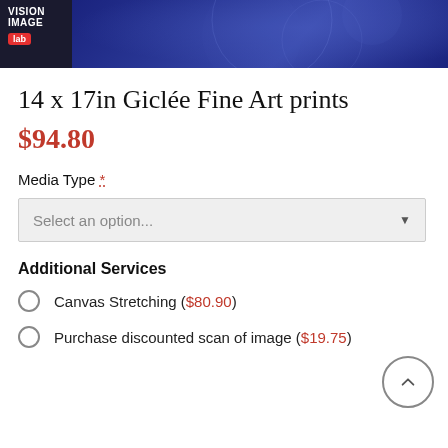[Figure (logo): Vision Image Lab logo with red 'lab' badge on dark background header]
14 x 17in Giclée Fine Art prints
$94.80
Media Type *
Select an option...
Additional Services
Canvas Stretching ($80.90)
Purchase discounted scan of image ($19.75)